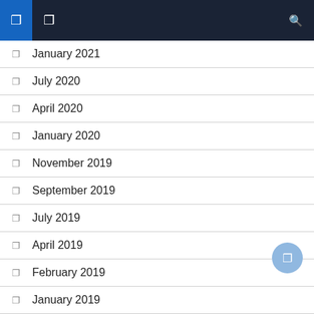Navigation bar with icons
January 2021
July 2020
April 2020
January 2020
November 2019
September 2019
July 2019
April 2019
February 2019
January 2019